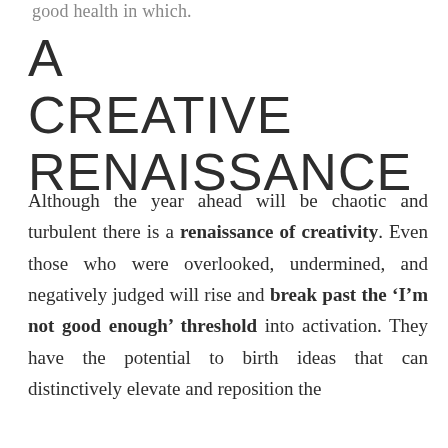good health in which.
A CREATIVE RENAISSANCE
Although the year ahead will be chaotic and turbulent there is a renaissance of creativity. Even those who were overlooked, undermined, and negatively judged will rise and break past the ‘I’m not good enough’ threshold into activation. They have the potential to birth ideas that can distinctively elevate and reposition the